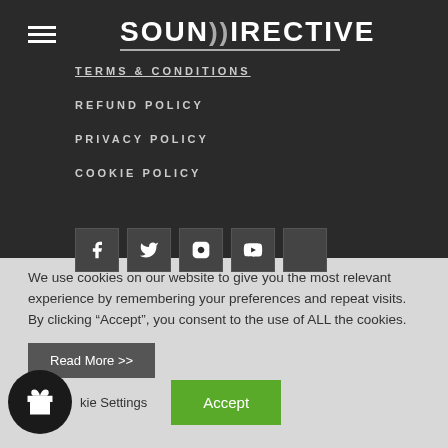[Figure (logo): SoundDirective logo with sound wave icon in white on dark background]
TERMS & CONDITIONS
REFUND POLICY
PRIVACY POLICY
COOKIE POLICY
[Figure (illustration): Five social media icon buttons (Facebook, Twitter, Instagram, YouTube, and one more) in dark square containers]
We use cookies on our website to give you the most relevant experience by remembering your preferences and repeat visits. By clicking “Accept”, you consent to the use of ALL the cookies.
Read More >>
.
Cookie Settings
Accept